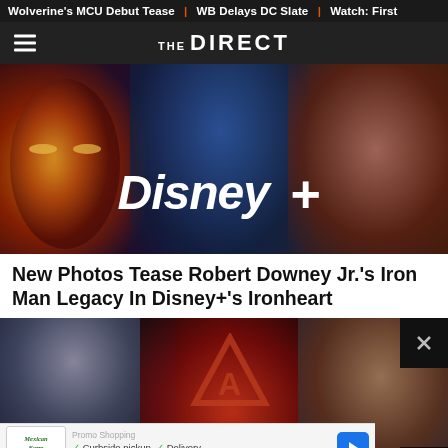Wolverine's MCU Debut Tease | WB Delays DC Slate | Watch: First
[Figure (screenshot): The Direct website navigation bar with hamburger menu and THE DIRECT logo in white on dark background]
[Figure (photo): Disney+ promotional hero image featuring Iron Man armor on left, Spider-Man in center, and Robert Downey Jr. face on right with Disney+ logo overlay]
New Photos Tease Robert Downey Jr.'s Iron Man Legacy In Disney+'s Ironheart
[Figure (photo): Collage of Marvel images including Robert Downey Jr. as Tony Stark closeup on left, Avengers movie poster in center, and Robert Downey Jr. battered face on right]
Curbside pickup Delivery | Delivery & Curbside Available